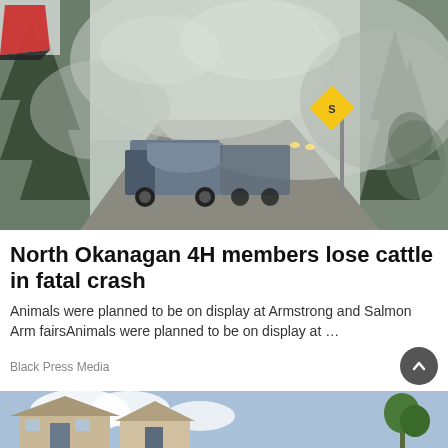[Figure (photo): Smoky highway scene with transport trucks stopped on a road surrounded by forest and heavy wildfire smoke, with a road sign visible on the right side. A logo in the top-left corner is partially visible.]
North Okanagan 4H members lose cattle in fatal crash
Animals were planned to be on display at Armstrong and Salmon Arm fairsAnimals were planned to be on display at …
Black Press Media
[Figure (photo): Partial view of suburban houses with blue sky and clouds visible at the bottom of the page.]